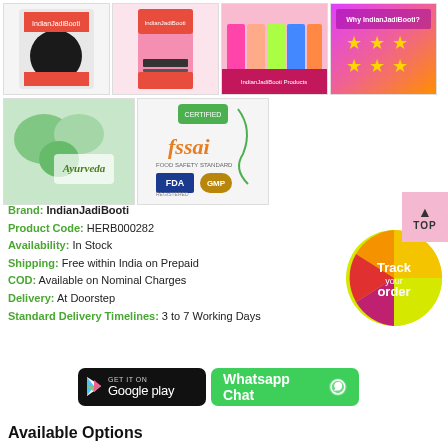[Figure (photo): Grid of 6 product thumbnail images for IndianJadiBooti herbal product - black seeds, pink packaging, product range, star rating, Ayurveda, FSSAI/FDA certified]
Brand: IndianJadiBooti
Product Code: HERB000282
Availability: In Stock
Shipping: Free within India on Prepaid
COD: Available on Nominal Charges
Delivery: At Doorstep
Standard Delivery Timelines: 3 to 7 Working Days
[Figure (illustration): Track your order circular button with rainbow gradient colors]
[Figure (screenshot): Google Play Store download button]
[Figure (illustration): Whatsapp Chat button in green]
Available Options